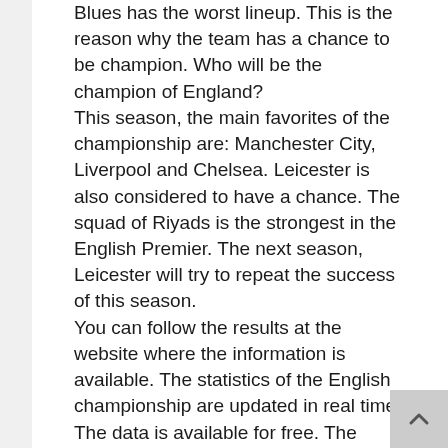Blues has the worst lineup. This is the reason why the team has a chance to be champion. Who will be the champion of England? This season, the main favorites of the championship are: Manchester City, Liverpool and Chelsea. Leicester is also considered to have a chance. The squad of Riyads is the strongest in the English Premier. The next season, Leicester will try to repeat the success of this season. You can follow the results at the website where the information is available. The statistics of the English championship are updated in real time. The data is available for free. The season is already over. The professionals have already predicted the champion. The predictions are correct. The competitors of the leaders are: